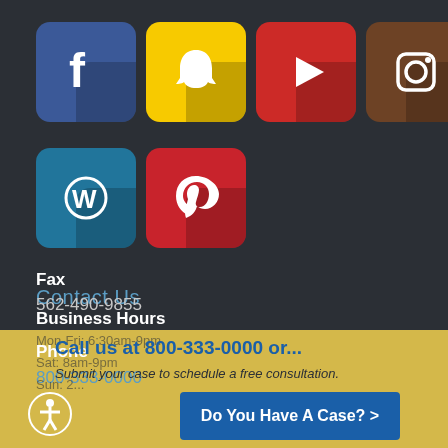[Figure (illustration): Social media icons row 1: Facebook (blue), Snapchat (yellow), YouTube/play (red), Instagram (brown), Twitter (light blue), LinkedIn (blue)]
[Figure (illustration): Social media icons row 2: WordPress (teal), Pinterest (red)]
Contact Us
Phone
800-333-0000
Fax
562-490-9855
Business Hours
Mon-Fri: 6:30am-9pm
Sat: 8am-9pm
Sun: 2...
Call us at 800-333-0000 or...
Submit your case to schedule a free consultation.
Do You Have A Case? >